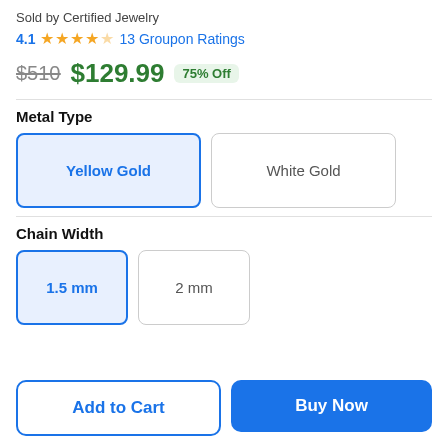Sold by Certified Jewelry
4.1 ★★★★☆ 13 Groupon Ratings
$510 $129.99 75% Off
Metal Type
Yellow Gold | White Gold
Chain Width
1.5 mm | 2 mm
Add to Cart | Buy Now